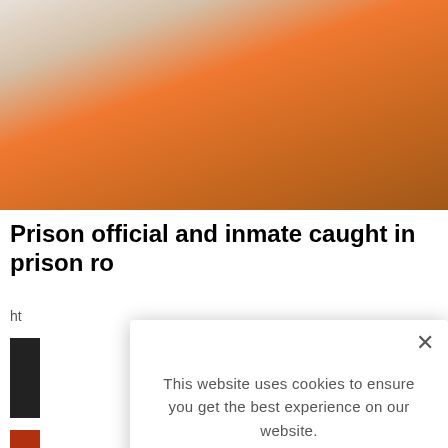[Figure (photo): Partial view of a person wearing white shirt and orange garment with printed text, cropped at top of page]
Prison official and inmate caught in prison ro
ht
[Figure (photo): Small thumbnail image, dark background, partially visible on left side]
[Figure (photo): Small thumbnail image, partially visible at bottom left]
This website uses cookies to ensure you get the best experience on our website.

LEARN MORE.

ACCEPT COOKIES